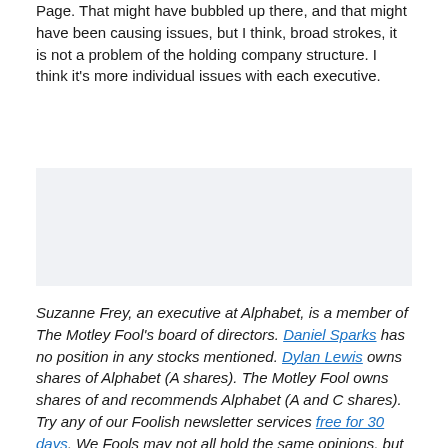Page. That might have bubbled up there, and that might have been causing issues, but I think, broad strokes, it is not a problem of the holding company structure. I think it's more individual issues with each executive.
[Figure (other): Advertisement placeholder box with light gray background]
Suzanne Frey, an executive at Alphabet, is a member of The Motley Fool's board of directors. Daniel Sparks has no position in any stocks mentioned. Dylan Lewis owns shares of Alphabet (A shares). The Motley Fool owns shares of and recommends Alphabet (A and C shares). Try any of our Foolish newsletter services free for 30 days. We Fools may not all hold the same opinions, but we all believe that considering a diverse range of insights makes us better investors. The Motley Fool has a disclosure policy.